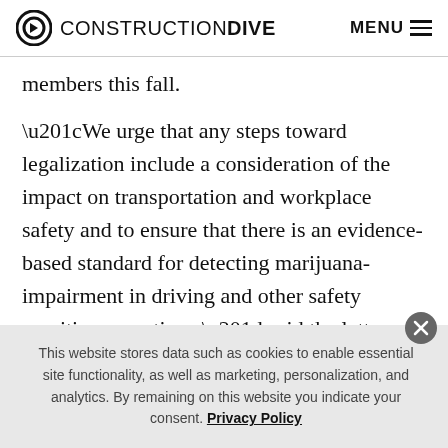CONSTRUCTION DIVE  MENU
members this fall.
“We urge that any steps toward legalization include a consideration of the impact on transportation and workplace safety and to ensure that there is an evidence-based standard for detecting marijuana-impairment in driving and other safety sensitive operations,” said the letter, which is also signed by many other trade groups.
This website stores data such as cookies to enable essential site functionality, as well as marketing, personalization, and analytics. By remaining on this website you indicate your consent. Privacy Policy